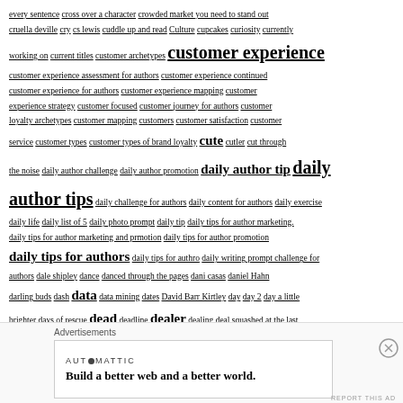every sentence cross over a character crowded market you need to stand out cruella deville cry cs lewis cuddle up and read Culture cupcakes curiosity currently working on current titles customer archetypes customer experience customer experience assessment for authors customer experience continued customer experience for authors customer experience mapping customer experience strategy customer focused customer journey for authors customer loyalty archetypes customer mapping customers customer satisfaction customer service customer types customer types of brand loyalty cute cutler cut through the noise daily author challenge daily author promotion daily author tip daily author tips daily challenge for authors daily content for authors daily exercise daily life daily list of 5 daily photo prompt daily tip daily tips for author marketing. daily tips for author marketing and prmotion daily tips for author promotion daily tips for authors daily tips for authro daily writing prompt challenge for authors dale shipley dance danced through the pages dani casas daniel Hahn darling buds dash data data mining dates David Barr Kirtley day day 2 day a little brighter days of rescue dead deadline dealer dealing deal squashed at the last
Advertisements
[Figure (other): Advertisement banner from Automattic: 'Build a better web and a better world.']